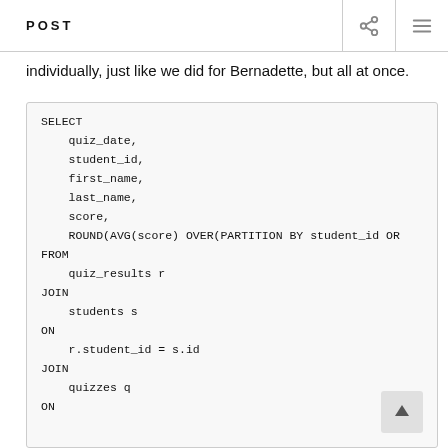POST
individually, just like we did for Bernadette, but all at once.
[Figure (screenshot): SQL code block showing a SELECT query with fields quiz_date, student_id, first_name, last_name, score, ROUND(AVG(score) OVER(PARTITION BY student_id OR..., FROM quiz_results r JOIN students s ON r.student_id = s.id JOIN quizzes q ON]